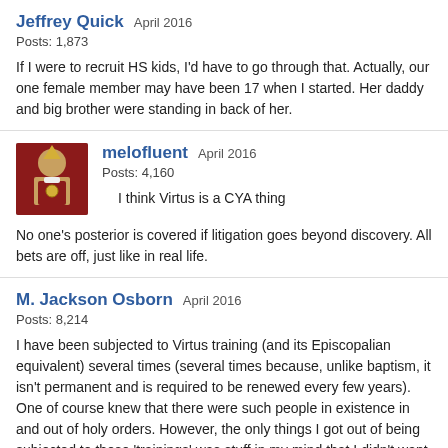Jeffrey Quick  April 2016
Posts: 1,873
If I were to recruit HS kids, I'd have to go through that. Actually, our one female member may have been 17 when I started. Her daddy and big brother were standing in back of her.
melofluent  April 2016
Posts: 4,160
I think Virtus is a CYA thing
No one's posterior is covered if litigation goes beyond discovery. All bets are off, just like in real life.
M. Jackson Osborn  April 2016
Posts: 8,214
I have been subjected to Virtus training (and its Episcopalian equivalent) several times (several times because, unlike baptism, it isn't permanent and is required to be renewed every few years). One of course knew that there were such people in existence in and out of holy orders. However, the only things I got out of being subjected to these 'trainings' was stuff in my mind that I didn't want there and would never have thought of. We